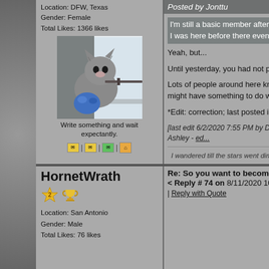Location: DFW, Texas
Gender: Female
Total Likes: 1366 likes
[Figure (photo): A cat looking out a window, holding what appears to be a toy or object, with a blue fuzzy item nearby]
Write something and wait expectantly.
Posted by Jonttu
I'm still a basic member after 15
I was here before there even we
Yeah, but...
Until yesterday, you had not posted...
Lots of people around here know m... might have something to do with it.
*Edit: correction; last posted in 200...
[last edit 6/2/2020 7:55 PM by Dee Ashley - ed...
I wandered till the stars went dim.
HornetWrath
Location: San Antonio
Gender: Male
Total Likes: 76 likes
Re: So you want to become a full...
< Reply # 74 on 8/11/2020 10:53 P...
Reply with Quote